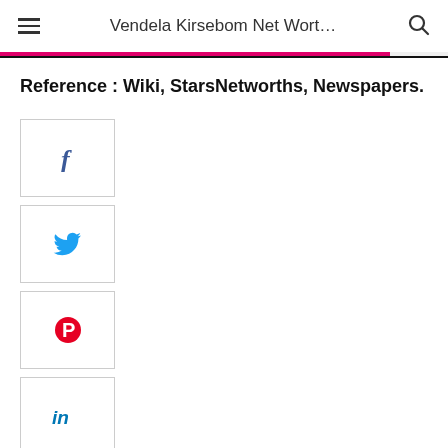Vendela Kirsebom Net Wort...
Reference : Wiki, StarsNetworths, Newspapers.
[Figure (other): Social media share buttons: Facebook, Twitter, Pinterest, LinkedIn, Reddit icons in bordered square buttons]
[Figure (other): Additional social share button (partially visible at bottom)]